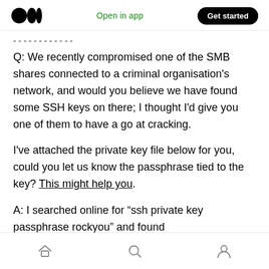Medium logo | Open in app | Get started
Q: We recently compromised one of the SMB shares connected to a criminal organisation's network, and would you believe we have found some SSH keys on there; I thought I'd give you one of them to have a go at cracking.
I've attached the private key file below for you, could you let us know the passphrase tied to the key? This might help you.
A: I searched online for “ssh private key passphrase rockyou” and found
Home | Search | Profile